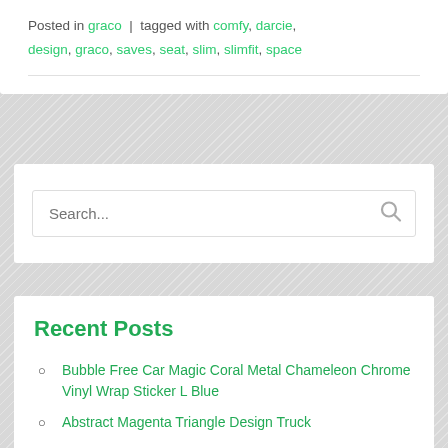Posted in graco | tagged with comfy, darcie, design, graco, saves, seat, slim, slimfit, space
Search...
Recent Posts
Bubble Free Car Magic Coral Metal Chameleon Chrome Vinyl Wrap Sticker L Blue
Abstract Magenta Triangle Design Truck Hood Wrap Vinyl Road Car Graphics